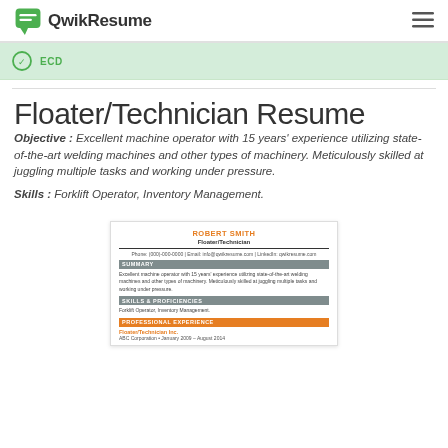QwikResume
ECD
Floater/Technician Resume
Objective : Excellent machine operator with 15 years' experience utilizing state-of-the-art welding machines and other types of machinery. Meticulously skilled at juggling multiple tasks and working under pressure.
Skills : Forklift Operator, Inventory Management.
[Figure (screenshot): Preview of a resume for Robert Smith, Floater/Technician, showing sections for objective, skills, and professional experience.]